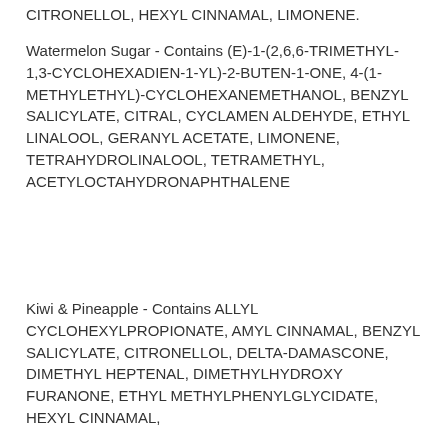CITRONELLOL, HEXYL CINNAMAL, LIMONENE.
Watermelon Sugar - Contains (E)-1-(2,6,6-TRIMETHYL-1,3-CYCLOHEXADIEN-1-YL)-2-BUTEN-1-ONE, 4-(1- METHYLETHYL)-CYCLOHEXANEMETHANOL, BENZYL SALICYLATE, CITRAL, CYCLAMEN ALDEHYDE, ETHYL LINALOOL, GERANYL ACETATE, LIMONENE, TETRAHYDROLINALOOL, TETRAMETHYL, ACETYLOCTAHYDRONAPHTHALENE
Kiwi & Pineapple - Contains ALLYL CYCLOHEXYLPROPIONATE, AMYL CINNAMAL, BENZYL SALICYLATE, CITRONELLOL, DELTA-DAMASCONE, DIMETHYL HEPTENAL, DIMETHYLHYDROXY FURANONE, ETHYL METHYLPHENYLGLYCIDATE, HEXYL CINNAMAL,